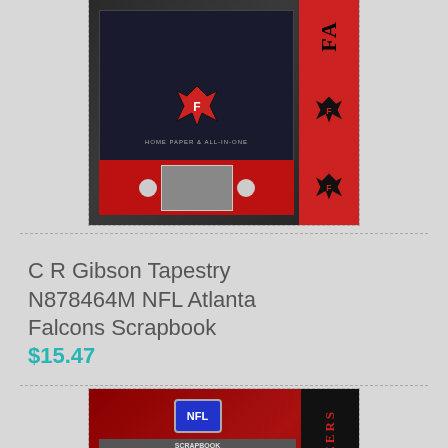[Figure (photo): Partially visible product image of C R Gibson NFL Atlanta Falcons Scrapbook in display box with dark background and red right strip]
C R Gibson Tapestry N878464M NFL Atlanta Falcons Scrapbook
$15.47
[Figure (photo): Partially visible product image of NFL Tampa Bay Buccaneers Scrapbook Complete set in red packaging]